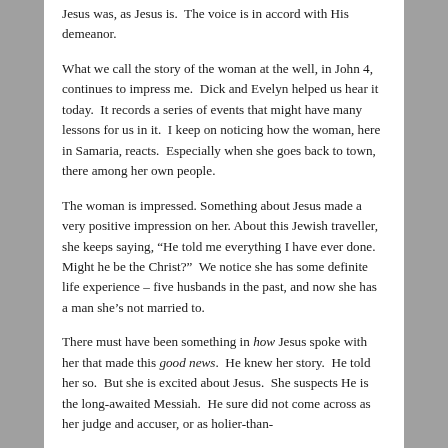Jesus was, as Jesus is.  The voice is in accord with His demeanor.
What we call the story of the woman at the well, in John 4, continues to impress me.  Dick and Evelyn helped us hear it today.  It records a series of events that might have many lessons for us in it.  I keep on noticing how the woman, here in Samaria, reacts.  Especially when she goes back to town, there among her own people.
The woman is impressed. Something about Jesus made a very positive impression on her. About this Jewish traveller, she keeps saying, “He told me everything I have ever done.  Might he be the Christ?”  We notice she has some definite life experience – five husbands in the past, and now she has a man she’s not married to.
There must have been something in how Jesus spoke with her that made this good news.  He knew her story.  He told her so.  But she is excited about Jesus.  She suspects He is the long-awaited Messiah.  He sure did not come across as her judge and accuser, or as holier-than-